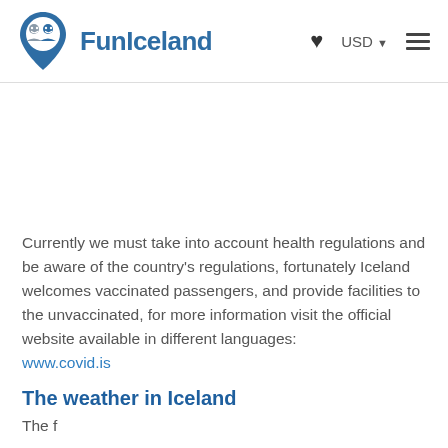FunIceland — USD
Currently we must take into account health regulations and be aware of the country's regulations, fortunately Iceland welcomes vaccinated passengers, and provide facilities to the unvaccinated, for more information visit the official website available in different languages: www.covid.is
The weather in Iceland